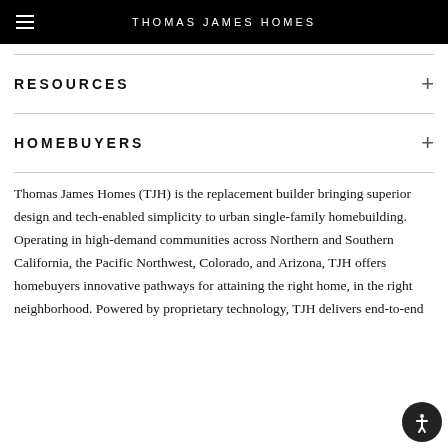THOMAS JAMES HOMES
RESOURCES
HOMEBUYERS
Thomas James Homes (TJH) is the replacement builder bringing superior design and tech-enabled simplicity to urban single-family homebuilding. Operating in high-demand communities across Northern and Southern California, the Pacific Northwest, Colorado, and Arizona, TJH offers homebuyers innovative pathways for attaining the right home, in the right neighborhood. Powered by proprietary technology, TJH delivers end-to-end